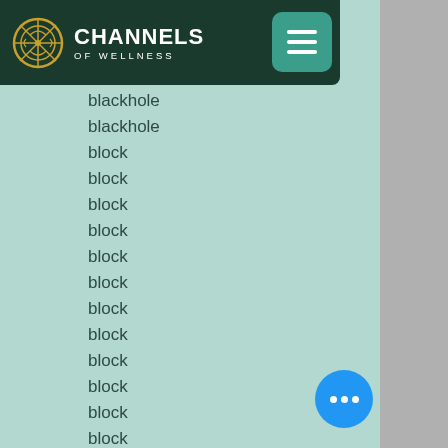CHANNELS OF WELLNESS
blackhole
blackhole
block
block
block
block
block
block
block
block
block
block
block
block
block
block
block
block (partial)